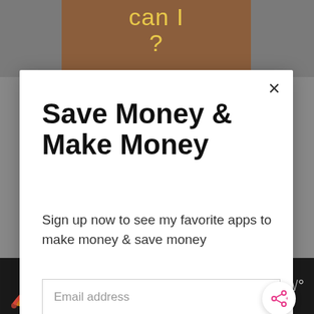[Figure (screenshot): Background gray area with a brown sign showing 'can I ?' in yellow handwritten text]
Save Money & Make Money
Sign up now to see my favorite apps to make money & save money
[Figure (screenshot): Email address input field with placeholder text]
[Figure (screenshot): Pink 'Get It Now' button and 'What's Next' promotional widget showing 'Home Depot Penny Items...']
[Figure (screenshot): Bottom advertisement bar with rainbow illustration and #ViralKindness text]